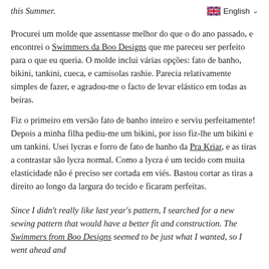this Summer.
Procurei um molde que assentasse melhor do que o do ano passado, e encontrei o Swimmers da Boo Designs que me pareceu ser perfeito para o que eu queria. O molde inclui várias opções: fato de banho, bikini, tankini, cueca, e camisolas rashie. Parecia relativamente simples de fazer, e agradou-me o facto de levar elástico em todas as beiras.
Fiz o primeiro em versão fato de banho inteiro e serviu perfeitamente! Depois a minha filha pediu-me um bikini, por isso fiz-lhe um bikini e um tankini. Usei lycras e forro de fato de banho da Pra Kriar, e as tiras a contrastar são lycra normal. Como a lycra é um tecido com muita elasticidade não é preciso ser cortada em viés. Bastou cortar as tiras a direito ao longo da largura do tecido e ficaram perfeitas.
Since I didn't really like last year's pattern, I searched for a new sewing pattern that would have a better fit and construction. The Swimmers from Boo Designs seemed to be just what I wanted, so I went ahead and